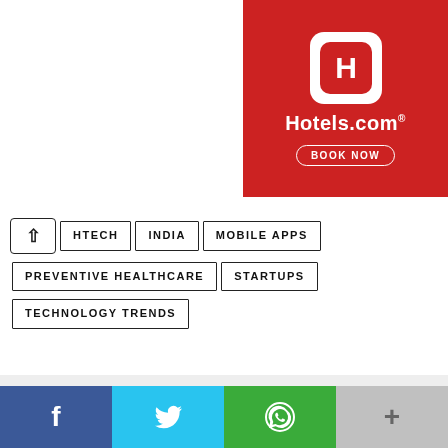[Figure (logo): Hotels.com advertisement banner with red background, white H logo icon, Hotels.com text, and BOOK NOW button]
HTECH
INDIA
MOBILE APPS
PREVENTIVE HEALTHCARE
STARTUPS
TECHNOLOGY TRENDS
SHARE ON
Share 0   Like 0   Tweet
[Figure (infographic): Bottom social share bar with Facebook, Twitter, WhatsApp, and more (+) buttons]